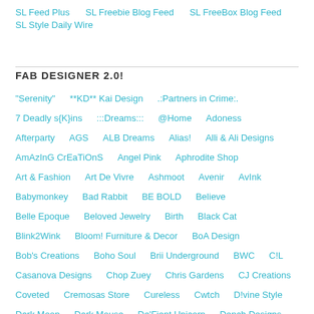SL Feed Plus   SL Freebie Blog Feed   SL FreeBox Blog Feed   SL Style Daily Wire
FAB DESIGNER 2.0!
"Serenity"   **KD** Kai Design   .:Partners in Crime:.   7 Deadly s{K}ins   :::Dreams:::   @Home   Adoness   Afterparty   AGS   ALB Dreams   Alias!   Alli & Ali Designs   AmAzInG CrEaTiOnS   Angel Pink   Aphrodite Shop   Art & Fashion   Art De Vivre   Ashmoot   Avenir   AvInk   Babymonkey   Bad Rabbit   BE BOLD   Believe   Belle Epoque   Beloved Jewelry   Birth   Black Cat   Blink2Wink   Bloom! Furniture & Decor   BoA Design   Bob's Creations   Boho Soul   Brii Underground   BWC   C!L   Casanova Designs   Chop Zuey   Chris Gardens   CJ Creations   Coveted   Cremosas Store   Cureless   Cwtch   D!vine Style   Dark Moon   Dark Mouse   De'Fient Unicorn   Dench Designs   Dressed by Lexi   Drip Urban Freebies Outlet   Eclectic Stars